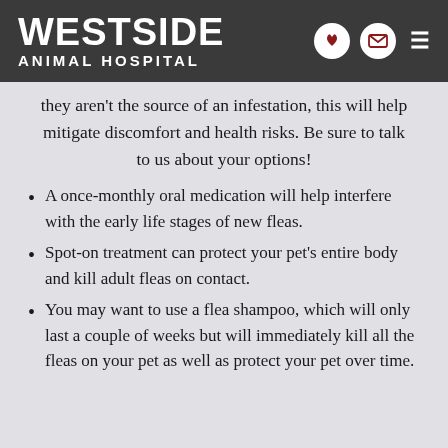WESTSIDE ANIMAL HOSPITAL
they aren't the source of an infestation, this will help mitigate discomfort and health risks. Be sure to talk to us about your options!
A once-monthly oral medication will help interfere with the early life stages of new fleas.
Spot-on treatment can protect your pet's entire body and kill adult fleas on contact.
You may want to use a flea shampoo, which will only last a couple of weeks but will immediately kill all the fleas on your pet as well as protect your pet over time.